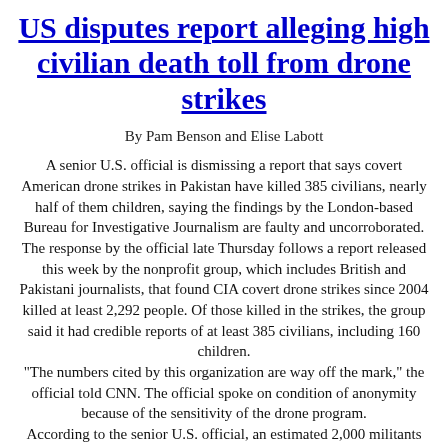US disputes report alleging high civilian death toll from drone strikes
By Pam Benson and Elise Labott
A senior U.S. official is dismissing a report that says covert American drone strikes in Pakistan have killed 385 civilians, nearly half of them children, saying the findings by the London-based Bureau for Investigative Journalism are faulty and uncorroborated. The response by the official late Thursday follows a report released this week by the nonprofit group, which includes British and Pakistani journalists, that found CIA covert drone strikes since 2004 killed at least 2,292 people. Of those killed in the strikes, the group said it had credible reports of at least 385 civilians, including 160 children. "The numbers cited by this organization are way off the mark," the official told CNN. The official spoke on condition of anonymity because of the sensitivity of the drone program. According to the senior U.S. official, an estimated 2,000 militants